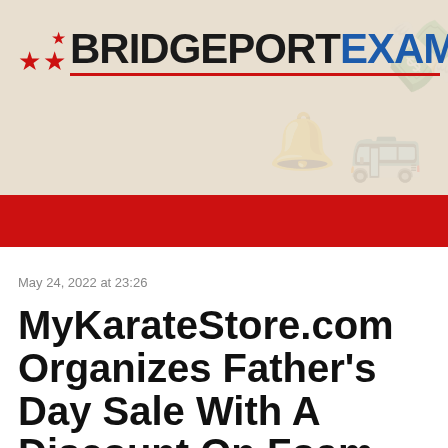[Figure (logo): Bridgeport Examiner newspaper logo with three red stars and the text BRIDGEPORT in black bold and EXAMINER in blue bold, with a red underline, on a beige background above a red bar.]
May 24, 2022 at 23:26
MyKarateStore.com Organizes Father's Day Sale With A Discount On Foam Nunchaku